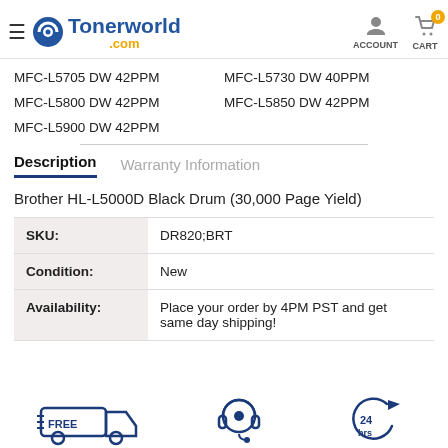Tonerworld.com — ACCOUNT | CART 0
MFC-L5705 DW 42PPM
MFC-L5730 DW 40PPM
MFC-L5800 DW 42PPM
MFC-L5850 DW 42PPM
MFC-L5900 DW 42PPM
Description | Warranty Information
Brother HL-L5000D Black Drum (30,000 Page Yield)
| Field | Value |
| --- | --- |
| SKU: | DR820;BRT |
| Condition: | New |
| Availability: | Place your order by 4PM PST and get same day shipping! |
[Figure (illustration): Three icons at bottom: Free shipping truck icon, customer support headset icon, and return/24h arrow icon]